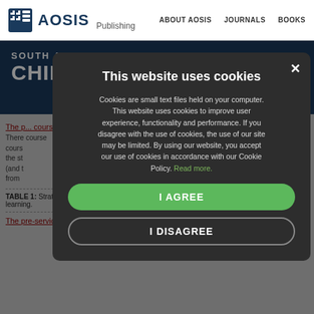AOSIS Publishing | ABOUT AOSIS | JOURNALS | BOOKS
SOUTH AFRICAN JOURNAL OF CHIL...
Cookies are small text files held on your computer. This website uses cookies to improve user experience, functionality and performance. If you disagree with the use of cookies, the use of our site may be limited. By using our website, you accept our use of cookies in accordance with our Cookie Policy. Read more.
I AGREE
I DISAGREE
The p... cours...
There course value the st hed (and t ies from
| TABLE 1: Strategies learned (and valued) by the pre-service teachers that could support learning. |
The pre-service teachers are aware that they still have gaps in their